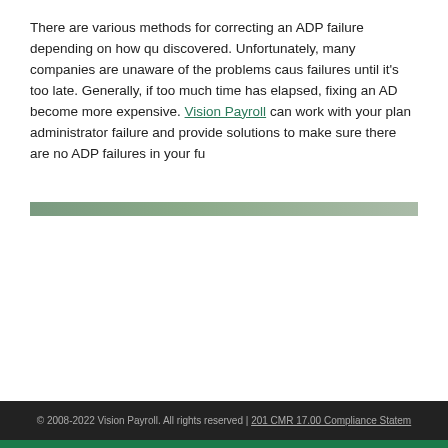There are various methods for correcting an ADP failure depending on how quickly it is discovered. Unfortunately, many companies are unaware of the problems caused by ADP failures until it's too late. Generally, if too much time has elapsed, fixing an ADP failure can become more expensive. Vision Payroll can work with your plan administrator to correct the failure and provide solutions to make sure there are no ADP failures in your future.
© 2008-2022 Vision Payroll. All rights reserved | 201 CMR 17.00 Compliance Statement